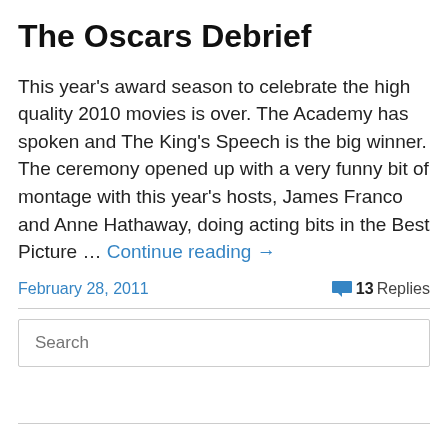The Oscars Debrief
This year's award season to celebrate the high quality 2010 movies is over. The Academy has spoken and The King's Speech is the big winner. The ceremony opened up with a very funny bit of montage with this year's hosts, James Franco and Anne Hathaway, doing acting bits in the Best Picture … Continue reading →
February 28, 2011   💬 13 Replies